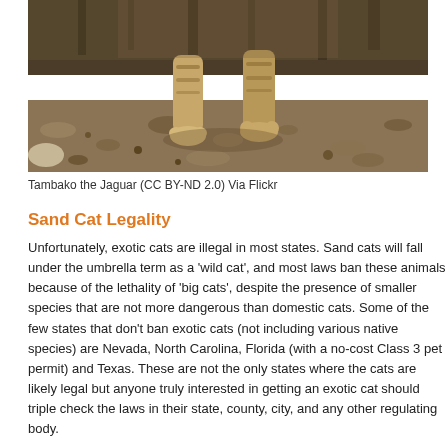[Figure (photo): Close-up photograph of a sand cat or similar wild cat walking on rocky/sandy ground, showing its legs and paws, with a blurred body above.]
Tambako the Jaguar (CC BY-ND 2.0) Via Flickr
Sand Cat Legality
Unfortunately, exotic cats are illegal in most states. Sand cats will fall under the umbrella term as a 'wild cat', and most laws ban these animals because of the lethality of 'big cats', despite the presence of smaller species that are not more dangerous than domestic cats. Some of the few states that don't ban exotic cats (not including various native species) are Nevada, North Carolina, Florida (with a no-cost Class 3 pet permit) and Texas. These are not the only states where the cats are likely legal but anyone truly interested in getting an exotic cat should triple check the laws in their state, county, city, and any other regulating body.